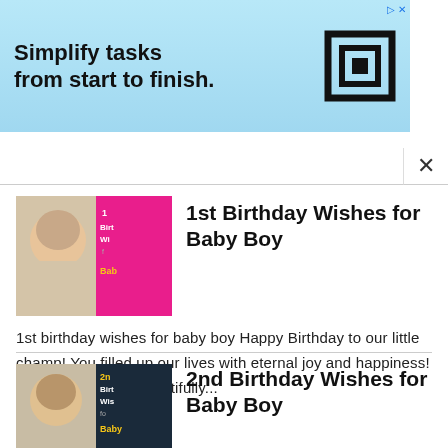[Figure (screenshot): Advertisement banner: light blue gradient background with bold text 'Simplify tasks from start to finish.' and a black square logo on the right]
[Figure (screenshot): Thumbnail image for 1st Birthday Wishes for Baby Boy - baby photo with pink overlay and text]
1st Birthday Wishes for Baby Boy
1st birthday wishes for baby boy Happy Birthday to our little champ! You filled up our lives with eternal joy and happiness! May you grow up beautifully...
[Figure (screenshot): Thumbnail image for 2nd Birthday Wishes for Baby Boy - baby photo with dark blue overlay and yellow text]
2nd Birthday Wishes for Baby Boy